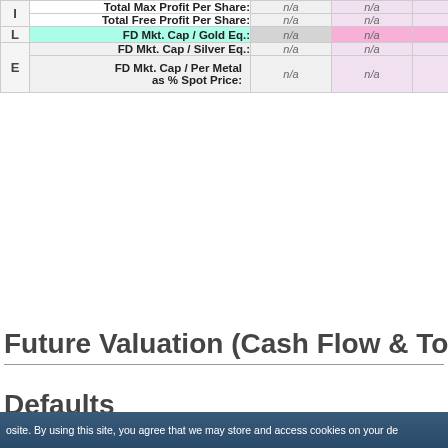|  | Label | Col1 | Col2 |  |
| --- | --- | --- | --- | --- |
| I | Total Max Profit Per Share: | n/a | n/a |  |
| B | Total Free Profit Per Share: | n/a | n/a |  |
| L | FD Mkt. Cap / Gold Eq.: | n/a | n/a |  |
| E | FD Mkt. Cap / Silver Eq.: | n/a | n/a |  |
| E | FD Mkt. Cap / Per Metal as % Spot Price: | n/a | n/a |  |
Future Valuation (Cash Flow & To
Defaults
osite. By using this site, you agree that we may store and access cookies on your de